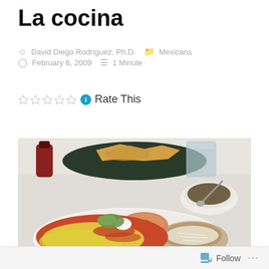La cocina
David Diego Rodríguez, Ph.D.   Mexicans
February 6, 2009   1 Minute
Rate This
[Figure (photo): A plate of Mexican food including enchiladas with melted cheese and red sauce, Spanish rice, refried beans topped with shredded cheese, and a small bowl of soup with a spoon, plus a basket of tortilla chips in the background.]
Follow ...